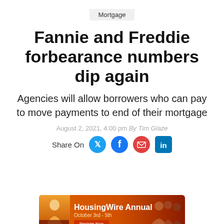Mortgage
Fannie and Freddie forbearance numbers dip again
Agencies will allow borrowers who can pay to move payments to end of their mortgage
August 2, 2021, 4:00 pm By Tim Glaze
Share On
[Figure (infographic): HousingWire Annual banner advertisement. Orange/red gradient background with a woman photo on left, text 'HousingWire Annual October 3rd - 5th' in white, and logos on right side.]